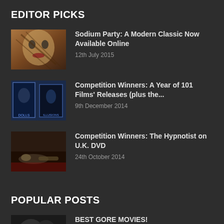EDITOR PICKS
Sodium Party: A Modern Classic Now Available Online
12th July 2015
Competition Winners: A Year of 101 Films' Releases (plus the...
9th December 2014
Competition Winners: The Hypnotist on U.K. DVD
24th October 2014
POPULAR POSTS
BEST GORE MOVIES!